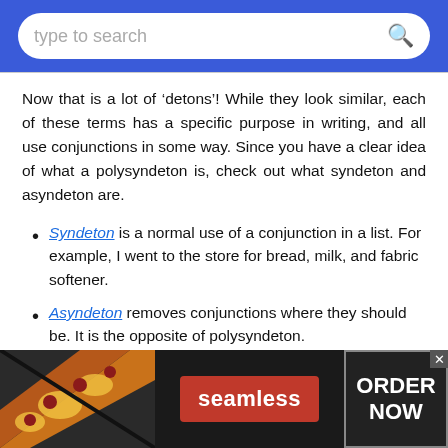type to search
Now that is a lot of ‘detons’! While they look similar, each of these terms has a specific purpose in writing, and all use conjunctions in some way. Since you have a clear idea of what a polysyndeton is, check out what syndeton and asyndeton are.
Syndeton is a normal use of a conjunction in a list. For example, I went to the store for bread, milk, and fabric softener.
Asyndeton removes conjunctions where they should be. It is the opposite of polysyndeton.
[Figure (screenshot): Seamless food delivery advertisement banner with pizza image, red Seamless button, and ORDER NOW button]